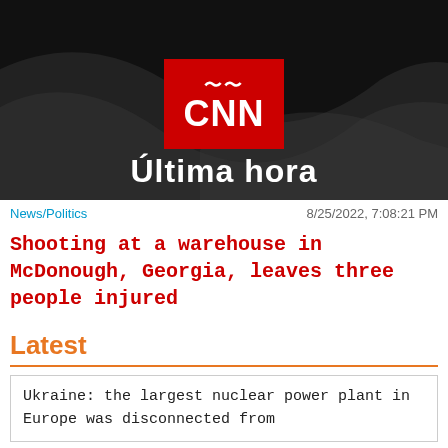[Figure (logo): CNN en Español logo on black background with wave design and 'Última hora' text]
News/Politics	8/25/2022, 7:08:21 PM
Shooting at a warehouse in McDonough, Georgia, leaves three people injured
Latest
Ukraine: the largest nuclear power plant in Europe was disconnected from